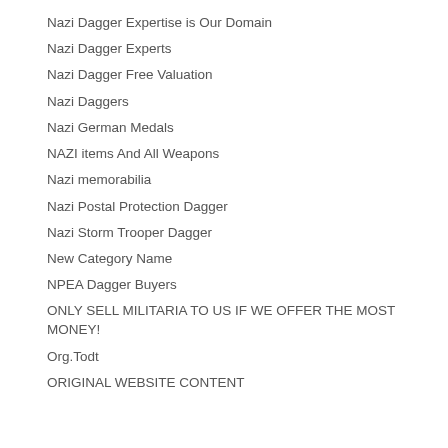Nazi Dagger Expertise is Our Domain
Nazi Dagger Experts
Nazi Dagger Free Valuation
Nazi Daggers
Nazi German Medals
NAZI items And All Weapons
Nazi memorabilia
Nazi Postal Protection Dagger
Nazi Storm Trooper Dagger
New Category Name
NPEA Dagger Buyers
ONLY SELL MILITARIA TO US IF WE OFFER THE MOST MONEY!
Org.Todt
ORIGINAL WEBSITE CONTENT